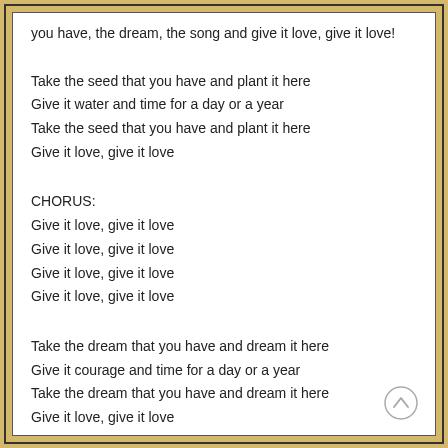you have, the dream, the song and give it love, give it love!
Take the seed that you have and plant it here
Give it water and time for a day or a year
Take the seed that you have and plant it here
Give it love, give it love
CHORUS:
Give it love, give it love
Give it love, give it love
Give it love, give it love
Give it love, give it love
Take the dream that you have and dream it here
Give it courage and time for a day or a year
Take the dream that you have and dream it here
Give it love, give it love
CHORUS